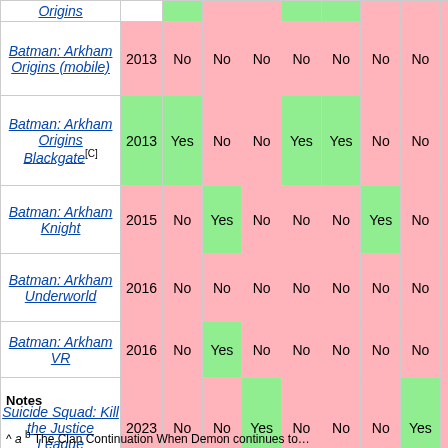| Game | Year | Col1 | Col2 | Col3 | Col4 | Col5 | Col6 | Col7 | Col8 | Col9 | Col10 |
| --- | --- | --- | --- | --- | --- | --- | --- | --- | --- | --- | --- |
| Origins |  | Yes |  |  | Yes | Yes |  |  |  | Yes | Y |
| Batman: Arkham Origins (mobile) | 2013 | No | No | No | No | No | No | No | No | No |  |
| Batman: Arkham Origins Blackgate[C] | 2013 | Yes | No | No | Yes | Yes | No | No | No | Yes | Y |
| Batman: Arkham Knight | 2015 | No | Yes | No | No | No | Yes | No | No | Yes |  |
| Batman: Arkham Underworld | 2016 | No | No | No | No | No | No | No | No | No |  |
| Batman: Arkham VR | 2016 | No | Yes | No | No | No | No | No | No | Yes |  |
| Suicide Squad: Kill the Justice League | 2023 | No | No | Yes | No | No | No | Yes | No | Yes |  |
Notes
^ a b The Clan Continuation When Demon continues to...